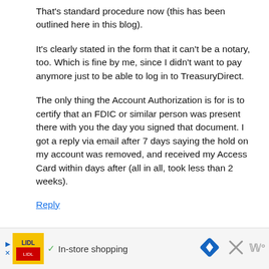That's standard procedure now (this has been outlined here in this blog).
It's clearly stated in the form that it can't be a notary, too. Which is fine by me, since I didn't want to pay anymore just to be able to log in to TreasuryDirect.
The only thing the Account Authorization is for is to certify that an FDIC or similar person was present there with you the day you signed that document. I got a reply via email after 7 days saying the hold on my account was removed, and received my Access Card within days after (all in all, took less than 2 weeks).
Reply
[Figure (other): Advertisement banner with Lidl logo image, play/close buttons, checkmark, 'In-store shopping' text, navigation diamond icon, close X icon, and brand watermark]